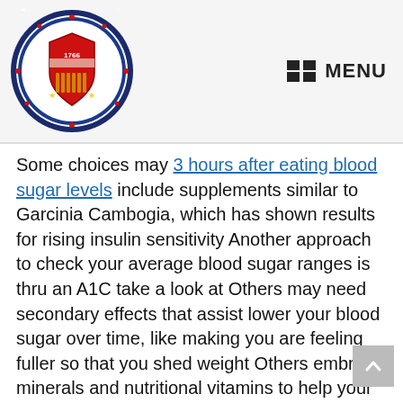[Figure (logo): Circular seal of Probinsya ng Ongono, Rizal with 1766 in center, red shield, stars and decorative border]
MENU
Some choices may 3 hours after eating blood sugar levels include supplements similar to Garcinia Cambogia, which has shown results for rising insulin sensitivity Another approach to check your average blood sugar ranges is thru an A1C take a look at Others may need secondary effects that assist lower your blood sugar over time, like making you are feeling fuller so that you shed weight Others embrace minerals and nutritional vitamins to help your hormonal level, which can additionally have an effect on